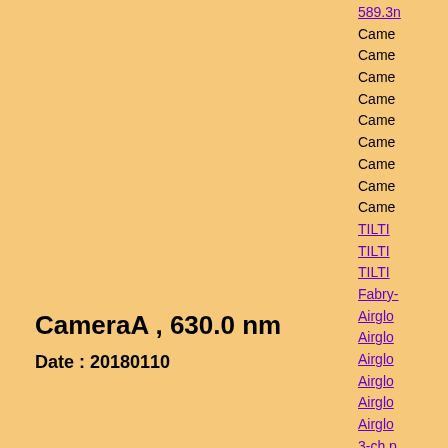CameraA , 630.0 nm
Date : 20180110
Click figure to enlarge
589.3n...
Came...
Came...
Came...
Came...
Came...
Came...
Came...
Came...
Came...
TILTI...
TILTI...
TILTI...
Fabry-...
Airglo...
Airglo...
Airglo...
Airglo...
Airglo...
Airglo...
3-ch p...
3-ch p...